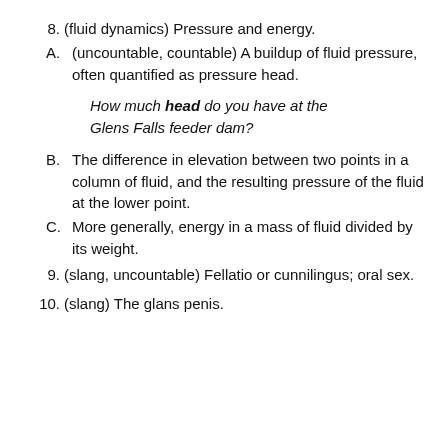8. (fluid dynamics) Pressure and energy.
A. (uncountable, countable) A buildup of fluid pressure, often quantified as pressure head.
How much head do you have at the Glens Falls feeder dam?
B. The difference in elevation between two points in a column of fluid, and the resulting pressure of the fluid at the lower point.
C. More generally, energy in a mass of fluid divided by its weight.
9. (slang, uncountable) Fellatio or cunnilingus; oral sex.
10. (slang) The glans penis.